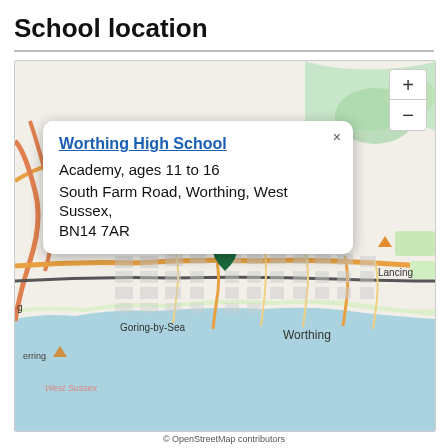School location
[Figure (map): Interactive OpenStreetMap showing the location of Worthing High School in Worthing, West Sussex. A green pin marks the school location. A popup info box displays: Worthing High School, Academy, ages 11 to 16, South Farm Road, Worthing, West Sussex, BN14 7AR. Visible map labels include A280, Goring-by-Sea, Worthing, Lancing, West Sussex, and Ferring. The English Channel is visible at the bottom of the map. Zoom controls (+/-) are shown in the top right.]
© OpenStreetMap contributors